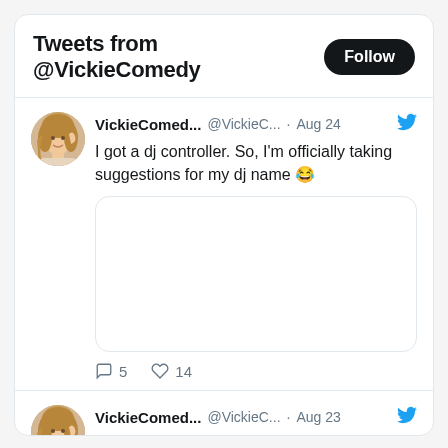Tweets from @VickieComedy
VickieComed... @VickieC... · Aug 24 — I got a dj controller. So, I'm officially taking suggestions for my dj name 😂
5 comments · 14 likes
VickieComed... @VickieC... · Aug 23 — If I was on @MASTERCHEFonFOX 😂